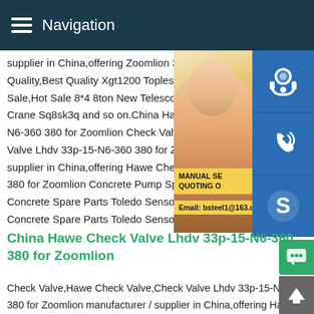Navigation
supplier in China,offering Zoomlion 36 Ton Quality,Best Quality Xgt1200 Topless Tower Sale,Hot Sale 8*4 8ton New Telescopic Boom Crane Sq8sk3q and so on.China Hawe Check Valve N6-360 380 for Zoomlion Check Valve,Hawe Check Valve Lhdv 33p-15-N6-360 380 for Zoomlion supplier in China,offering Hawe Check Valve Lhdv 33p-15-N6-360 380 for Zoomlion Concrete Pump Spare Parts Concrete Spare Parts Toledo Sensor in Hot Concrete Spare Parts Toledo Sensor and
[Figure (photo): Woman with headset customer service photo with blue icon buttons (headset, phone, Skype) and yellow manual/quoting/email overlay]
China Hawe Check Valve Lhdv 33p-15-N6-360 380 for Zoomlion
Check Valve,Hawe Check Valve,Check Valve Lhdv 33p-15-N6-360 380 for Zoomlion manufacturer / supplier in China,offering Hawe Check Valve Lhdv 33p-15-N6-360 380 for Zoomlion Concrete